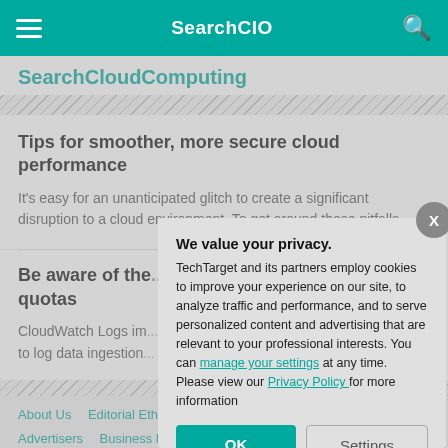SearchCIO
SearchCloudComputing
Tips for smoother, more secure cloud performance
It's easy for an unanticipated glitch to create a significant disruption to a cloud environment. To get around these pitfalls, ...
Be aware of the... quotas
CloudWatch Logs im... to log data ingestion...
We value your privacy. TechTarget and its partners employ cookies to improve your experience on our site, to analyze traffic and performance, and to serve personalized content and advertising that are relevant to your professional interests. You can manage your settings at any time. Please view our Privacy Policy for more information
About Us   Editorial Ethic...   Advertisers   Business Pa...
Contributors   Reprints
Features